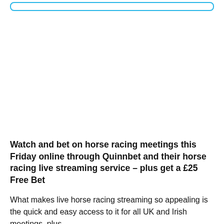[Figure (other): A horizontal rounded rectangle input/search bar outline in light blue, positioned at the top of the page.]
Watch and bet on horse racing meetings this Friday online through Quinnbet and their horse racing live streaming service – plus get a £25 Free Bet
What makes live horse racing streaming so appealing is the quick and easy access to it for all UK and Irish meetings, plus